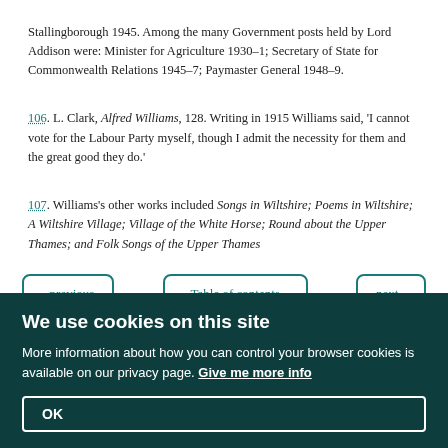Stallingborough 1945. Among the many Government posts held by Lord Addison were: Minister for Agriculture 1930–1; Secretary of State for Commonwealth Relations 1945–7; Paymaster General 1948–9.
106. L. Clark, Alfred Williams, 128. Writing in 1915 Williams said, 'I cannot vote for the Labour Party myself, though I admit the necessity for them and the great good they do.'
107. Williams's other works included Songs in Wiltshire; Poems in Wiltshire; A Wiltshire Village; Village of the White Horse; Round about the Upper Thames; and Folk Songs of the Upper Thames
‹ previous | Table of contents | next ›
We use cookies on this site
More information about how you can control your browser cookies is available on our privacy page. Give me more info
OK